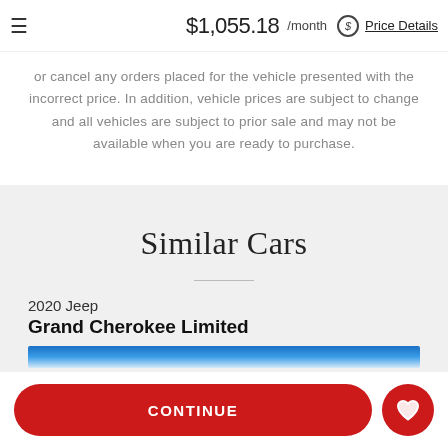≡  $1,055.18 /month  Price Details
or cancel any orders placed for the vehicle presented with the incorrect price. In addition, vehicle prices are subject to change and all vehicles are subject to prior sale and may not be available when you are ready to purchase.
Similar Cars
2020 Jeep
Grand Cherokee Limited
[Figure (photo): Blue sky photo strip preview of a 2020 Jeep Grand Cherokee Limited vehicle listing]
CONTINUE